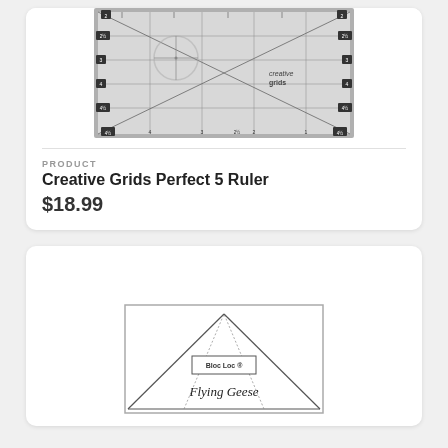[Figure (photo): Photo of Creative Grids Perfect 5 Ruler, a quilting ruler with measurement markings, circles, and diagonal lines.]
PRODUCT
Creative Grids Perfect 5 Ruler
$18.99
[Figure (illustration): Illustration of a Flying Geese quilting template with triangular shape and Bloc Loc logo, labeled 'Flying Geese'.]